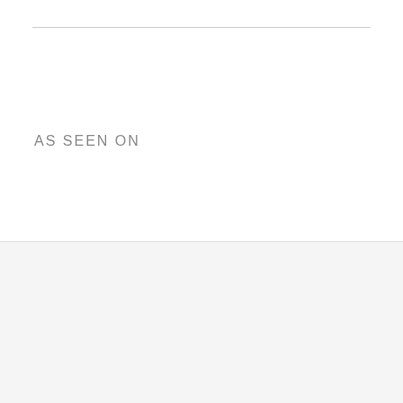AS SEEN ON
We use cookies to improve your online experience, analyse how our site is performing and offer personalised ads and content. Please let us know if you are happy to accept all cookies.
Manage settings
ACCEPT